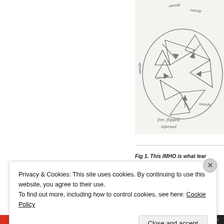[Figure (illustration): Hand-drawn sketch on white paper showing overlapping triangles arranged in a pinwheel/star pattern with handwritten labels 'outside' at top, 'outside' at right, 'outside' at left, 'outside' at bottom right, and 'free, flipped, informal' at the bottom center.]
Fig 1. This IMHO is what lear...
Privacy & Cookies: This site uses cookies. By continuing to use this website, you agree to their use.
To find out more, including how to control cookies, see here: Cookie Policy